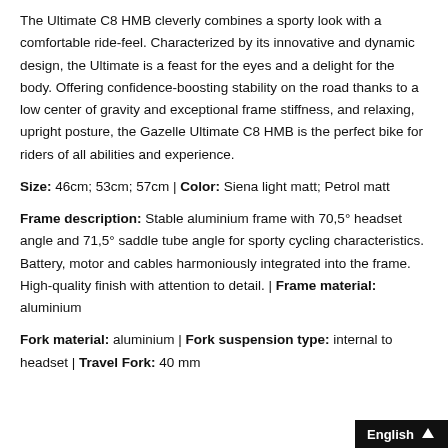The Ultimate C8 HMB cleverly combines a sporty look with a comfortable ride-feel. Characterized by its innovative and dynamic design, the Ultimate is a feast for the eyes and a delight for the body. Offering confidence-boosting stability on the road thanks to a low center of gravity and exceptional frame stiffness, and relaxing, upright posture, the Gazelle Ultimate C8 HMB is the perfect bike for riders of all abilities and experience.
Size: 46cm; 53cm; 57cm | Color: Siena light matt; Petrol matt
Frame description: Stable aluminium frame with 70,5° headset angle and 71,5° saddle tube angle for sporty cycling characteristics. Battery, motor and cables harmoniously integrated into the frame. High-quality finish with attention to detail. | Frame material: aluminium
Fork material: aluminium | Fork suspension type: internal to headset | Travel Fork: 40 mm
English